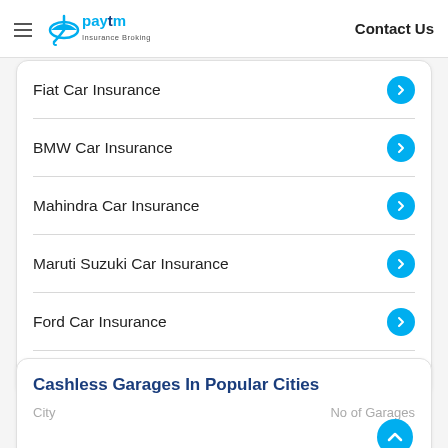Paytm Insurance Broking | Contact Us
Fiat Car Insurance
BMW Car Insurance
Mahindra Car Insurance
Maruti Suzuki Car Insurance
Ford Car Insurance
Show more
Cashless Garages In Popular Cities
City	No of Garages